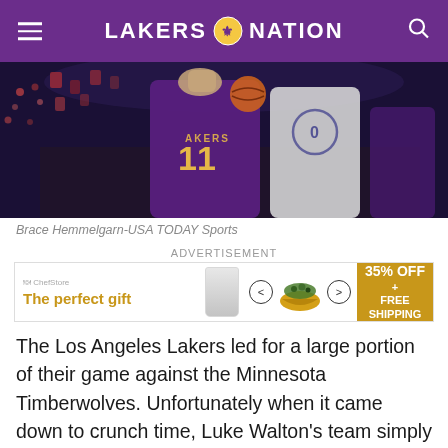LAKERS NATION
[Figure (photo): Basketball action photo showing Lakers player #11 in purple and gold jersey competing against a player in white jersey, crowd visible in background]
Brace Hemmelgarn-USA TODAY Sports
ADVERTISEMENT
[Figure (infographic): Advertisement banner: 'The perfect gift' with images of glass, bowl, navigation arrows, and '35% OFF + FREE SHIPPING' text on gold background]
The Los Angeles Lakers led for a large portion of their game against the Minnesota Timberwolves. Unfortunately when it came down to crunch time, Luke Walton's team simply couldn't come through when it mattered most and fell 119-111